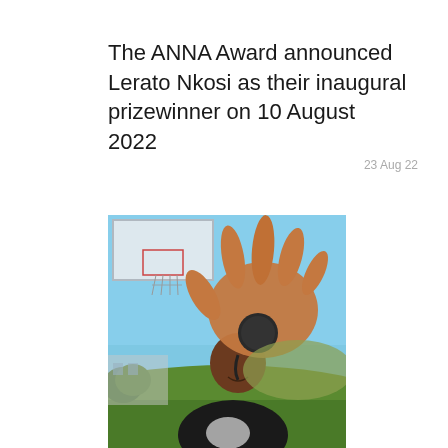The ANNA Award announced Lerato Nkosi as their inaugural prizewinner on 10 August 2022
23 Aug 22
[Figure (photo): A person outdoors near a basketball hoop, holding up their hand toward the camera with a medal around their neck. Blue sky background with greenery.]